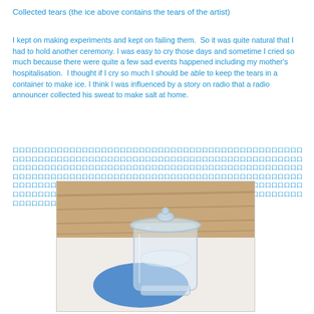Collected tears (the ice above contains the tears of the artist)
I kept on making experiments and kept on failing them.  So it was quite natural that I had to hold another ceremony. I was easy to cry those days and sometime I cried so much because there were quite a few sad events happened including my mother's hospitalisation.  I thought if I cry so much I should be able to keep the tears in a container to make ice. I think I was influenced by a story on radio that a radio announcer collected his sweat to make salt at home.
[Japanese text lines]
[Figure (photo): A glass container with a rounded bottom sitting on a white surface with a blue oval shape beneath it, photographed on a wooden surface background.]